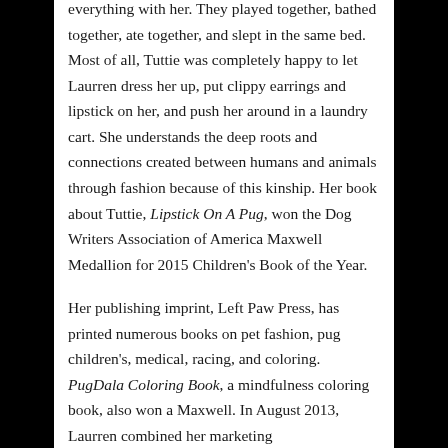everything with her. They played together, bathed together, ate together, and slept in the same bed. Most of all, Tuttie was completely happy to let Laurren dress her up, put clippy earrings and lipstick on her, and push her around in a laundry cart. She understands the deep roots and connections created between humans and animals through fashion because of this kinship. Her book about Tuttie, Lipstick On A Pug, won the Dog Writers Association of America Maxwell Medallion for 2015 Children's Book of the Year.
Her publishing imprint, Left Paw Press, has printed numerous books on pet fashion, pug children's, medical, racing, and coloring. PugDala Coloring Book, a mindfulness coloring book, also won a Maxwell. In August 2013, Laurren combined her marketing